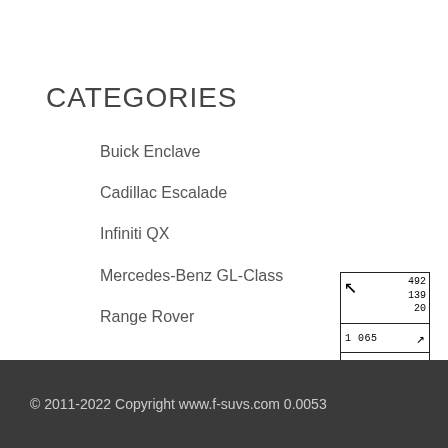CATEGORIES
Buick Enclave
Cadillac Escalade
Infiniti QX
Mercedes-Benz GL-Class
Range Rover
[Figure (other): Navigation widget showing arrow icons and numbers: 492, 139, 20 in top section; rows with '1 065' and arrow, '20' and arrow]
© 2011-2022 Copyright www.f-suvs.com 0.0053